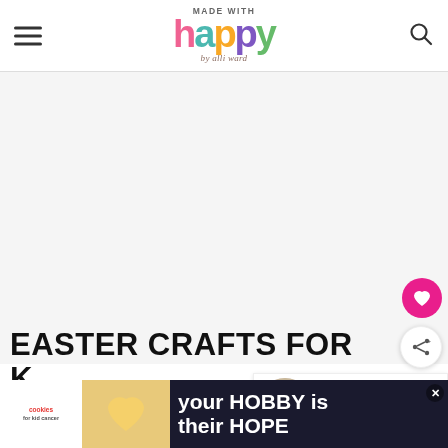MADE WITH happy by alli ward — Made With Happy blog header logo
[Figure (other): Large blank/white main image area for Easter crafts blog post]
[Figure (other): Pink circular floating heart/save button on right side]
[Figure (other): White circular floating share button on right side]
[Figure (other): What's Next promo box: '21+ Easter Crafts For...' with circular thumbnail]
EASTER CRAFTS FOR K
[Figure (other): Advertisement banner: cookies for kid cancer / your HOBBY is their HOPE]